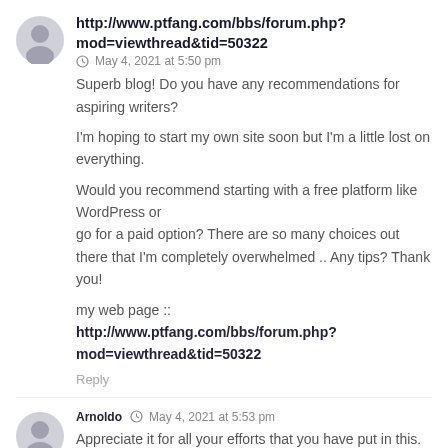http://www.ptfang.com/bbs/forum.php?mod=viewthread&tid=50322
May 4, 2021 at 5:50 pm
Superb blog! Do you have any recommendations for aspiring writers?

I'm hoping to start my own site soon but I'm a little lost on everything.

Would you recommend starting with a free platform like WordPress or go for a paid option? There are so many choices out there that I'm completely overwhelmed .. Any tips? Thank you!

my web page :: http://www.ptfang.com/bbs/forum.php?mod=viewthread&tid=50322
Reply
Arnoldo  May 4, 2021 at 5:53 pm
Appreciate it for all your efforts that you have put in this. Very interesting info.

Also visit my homepage: Arnoldo